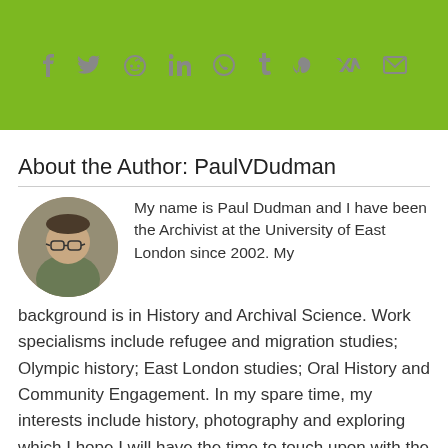[Figure (infographic): Green banner with social media sharing icons: Facebook, Twitter, Reddit, LinkedIn, WhatsApp, Tumblr, Pinterest, VK, Email]
About the Author: PaulVDudman
[Figure (photo): Circular profile photo of Paul Dudman, a man wearing glasses]
My name is Paul Dudman and I have been the Archivist at the University of East London since 2002. My background is in History and Archival Science. Work specialisms include refugee and migration studies; Olympic history; East London studies; Oral History and Community Engagement. In my spare time, my interests include history, photography and exploring which I hope I will have the time to touch upon with the occasional blog posting on my